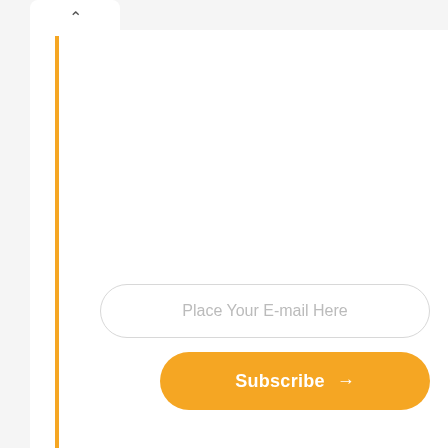[Figure (screenshot): UI screenshot showing a white card panel with an orange vertical left border line, a tab/toggle button at top-left with a chevron up arrow, an email input field with placeholder text 'Place Your E-mail Here', and an orange rounded Subscribe button with a right arrow.]
Place Your E-mail Here
Subscribe →